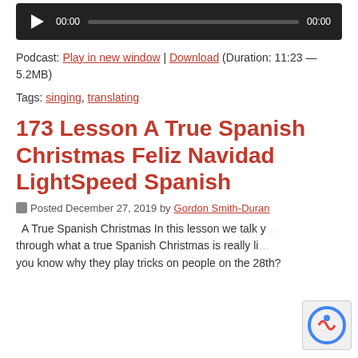[Figure (screenshot): Audio player with play button, 00:00 timestamp, progress bar, and 00:00 duration on dark background]
Podcast: Play in new window | Download (Duration: 11:23 — 5.2MB)
Tags: singing, translating
173 Lesson A True Spanish Christmas Feliz Navidad LightSpeed Spanish
Posted December 27, 2019 by Gordon Smith-Duran
A True Spanish Christmas In this lesson we talk through what a true Spanish Christmas is really like you know why they play tricks on people on the 28th?